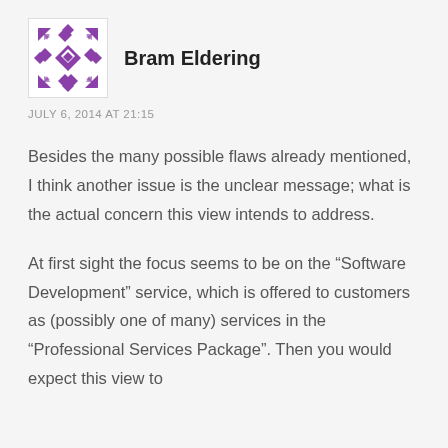[Figure (illustration): Purple geometric/diamond pattern avatar icon for user Bram Eldering]
Bram Eldering
JULY 6, 2014 AT 21:15
Besides the many possible flaws already mentioned, I think another issue is the unclear message; what is the actual concern this view intends to address.
At first sight the focus seems to be on the “Software Development” service, which is offered to customers as (possibly one of many) services in the “Professional Services Package”. Then you would expect this view to